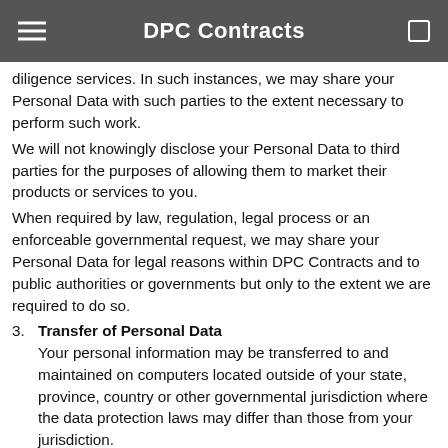DPC Contracts
diligence services. In such instances, we may share your Personal Data with such parties to the extent necessary to perform such work.
We will not knowingly disclose your Personal Data to third parties for the purposes of allowing them to market their products or services to you.
When required by law, regulation, legal process or an enforceable governmental request, we may share your Personal Data for legal reasons within DPC Contracts and to public authorities or governments but only to the extent we are required to do so.
3. Transfer of Personal Data
Your personal information may be transferred to and maintained on computers located outside of your state, province, country or other governmental jurisdiction where the data protection laws may differ than those from your jurisdiction.
onsent to the Privacy Statement followed by your ision of such information represents your agreement to that transfer.
We will take all steps reasonably necessary to ensure that your